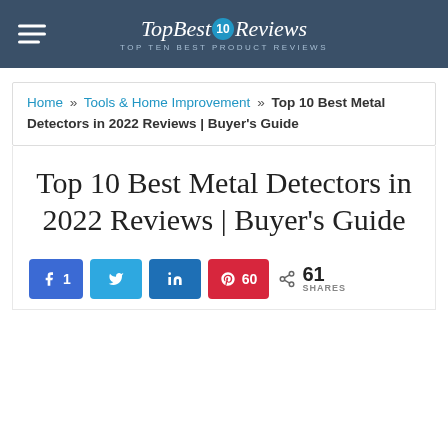TopBest10Reviews — Top Ten Best Product Reviews
Home » Tools & Home Improvement » Top 10 Best Metal Detectors in 2022 Reviews | Buyer's Guide
Top 10 Best Metal Detectors in 2022 Reviews | Buyer's Guide
Share buttons: Facebook 1, Twitter, LinkedIn, Pinterest 60 — 61 SHARES